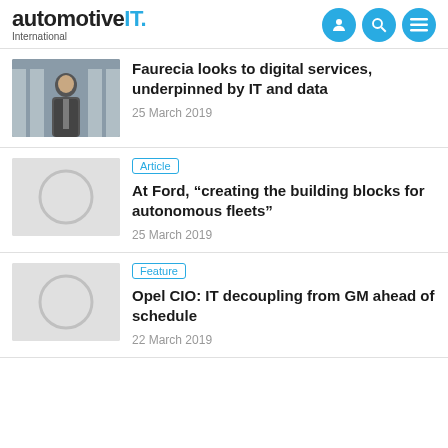automotive IT. International
[Figure (photo): Photo of a man in a suit standing in front of a building with columns]
Faurecia looks to digital services, underpinned by IT and data
25 March 2019
[Figure (photo): Placeholder image with circle]
Article
At Ford, “creating the building blocks for autonomous fleets”
25 March 2019
[Figure (photo): Placeholder image with circle]
Feature
Opel CIO: IT decoupling from GM ahead of schedule
22 March 2019